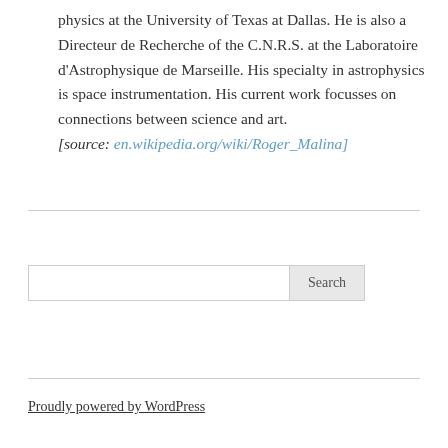physics at the University of Texas at Dallas. He is also a Directeur de Recherche of the C.N.R.S. at the Laboratoire d'Astrophysique de Marseille. His specialty in astrophysics is space instrumentation. His current work focusses on connections between science and art. [source: en.wikipedia.org/wiki/Roger_Malina]
Proudly powered by WordPress